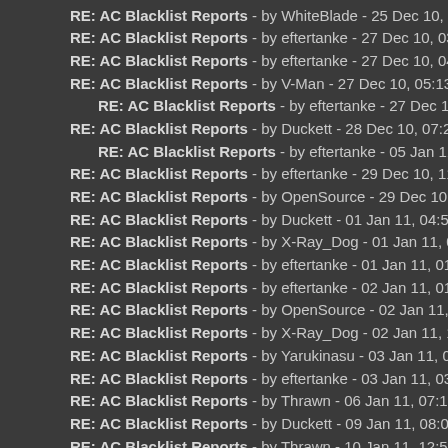RE: AC Blacklist Reports - by WhiteBlade - 25 Dec 10, 07:46PM
RE: AC Blacklist Reports - by eftertanke - 27 Dec 10, 03:04PM
RE: AC Blacklist Reports - by eftertanke - 27 Dec 10, 04:13PM
RE: AC Blacklist Reports - by V-Man - 27 Dec 10, 05:13PM
RE: AC Blacklist Reports - by eftertanke - 27 Dec 10, 10:40PM
RE: AC Blacklist Reports - by Duckett - 28 Dec 10, 07:23AM
RE: AC Blacklist Reports - by eftertanke - 05 Jan 11, 07:57AM
RE: AC Blacklist Reports - by eftertanke - 29 Dec 10, 11:05AM
RE: AC Blacklist Reports - by OpenSource - 29 Dec 10, 03:14PM
RE: AC Blacklist Reports - by Duckett - 01 Jan 11, 04:55AM
RE: AC Blacklist Reports - by X-Ray_Dog - 01 Jan 11, 07:16AM
RE: AC Blacklist Reports - by eftertanke - 01 Jan 11, 01:29PM
RE: AC Blacklist Reports - by eftertanke - 02 Jan 11, 01:37AM
RE: AC Blacklist Reports - by OpenSource - 02 Jan 11, 04:33PM
RE: AC Blacklist Reports - by X-Ray_Dog - 02 Jan 11, 10:03PM
RE: AC Blacklist Reports - by Yarukinasu - 03 Jan 11, 01:02AM
RE: AC Blacklist Reports - by eftertanke - 03 Jan 11, 03:27PM
RE: AC Blacklist Reports - by Thrawn - 06 Jan 11, 07:10AM
RE: AC Blacklist Reports - by Duckett - 09 Jan 11, 08:04PM
RE: AC Blacklist Reports - by Thrawn - 10 Jan 11, 12:53AM
RE: AC Blacklist Reports - by System - 15 Jan 11, 04:39PM
RE: AC Blacklist Reports - by #M|A#Wolf - 16 Jan 11, 12:56AM
RE: AC Blacklist Reports - by OpenSource - 16 Jan 11, 01:44AM
RE: AC Blacklist Reports - by M__Stayla - 16 Jan 11, 02:49PM
RE: AC Blacklist Reports - by OpenSource - 18 Jan 11, 04:09PM